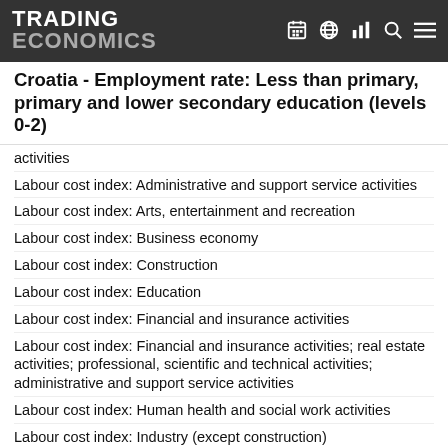TRADING ECONOMICS
Croatia - Employment rate: Less than primary, primary and lower secondary education (levels 0-2)
activities
Labour cost index: Administrative and support service activities
Labour cost index: Arts, entertainment and recreation
Labour cost index: Business economy
Labour cost index: Construction
Labour cost index: Education
Labour cost index: Financial and insurance activities
Labour cost index: Financial and insurance activities; real estate activities; professional, scientific and technical activities; administrative and support service activities
Labour cost index: Human health and social work activities
Labour cost index: Industry (except construction)
Labour cost index: Industry, construction and services (except activities of households as employers and extra-territorial organisations and bodies)
Labour cost index: Information and communication